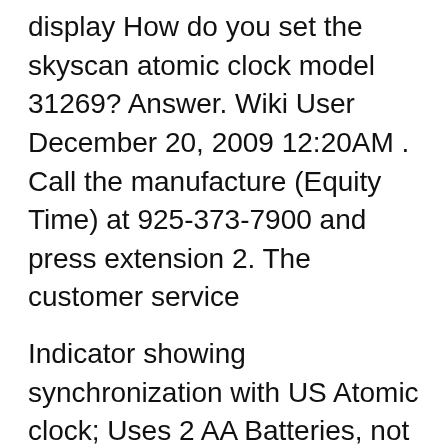display How do you set the skyscan atomic clock model 31269? Answer. Wiki User December 20, 2009 12:20AM . Call the manufacture (Equity Time) at 925-373-7900 and press extension 2. The customer service
Indicator showing synchronization with US Atomic clock; Uses 2 AA Batteries, not included. 1 year battery life (approximate) 1 year warranty (approximate) Dimensions: Overall Dimensions: 5-1/2" Wide x 3-5/8" Tall x 2" Deep (at base) Digit Height for time: 7/8" Box Contents: SkyScan Atomic Clock model 31269 with temperature display How do you set skyscan model 31269? We need you to answer this question! If you know the answer to this question, please register to join our limited beta program and